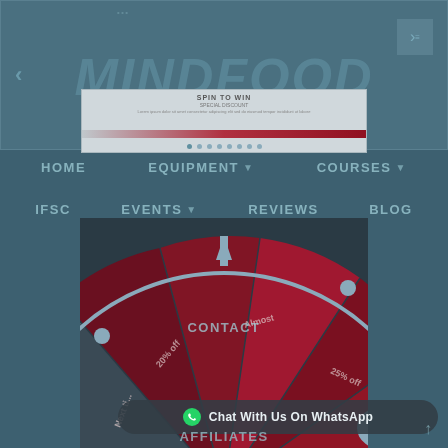[Figure (screenshot): MindFood magazine website header with navigation arrows and logo]
[Figure (screenshot): Spin to win promotional bar with red progress bar and navigation dots]
HOME
EQUIPMENT ▼
COURSES ▼
IFSC
EVENTS ▼
REVIEWS
BLOG
[Figure (screenshot): Spin to win wheel overlay showing prize segments: 20% off, Almost, 25% off, Next time, with pointer]
CONTACT
BECOME A PERSONAL TRAINER
DFA D...
Chat With Us On WhatsApp
AFFILIATES